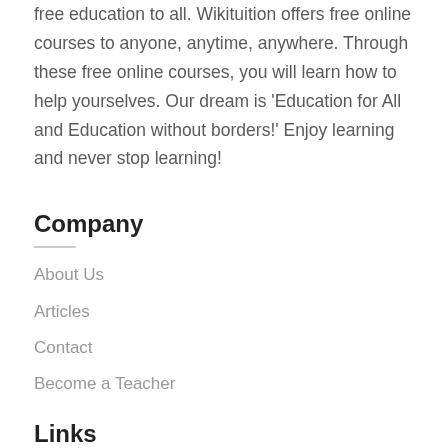free education to all. Wikituition offers free online courses to anyone, anytime, anywhere. Through these free online courses, you will learn how to help yourselves. Our dream is 'Education for All and Education without borders!' Enjoy learning and never stop learning!
Company
About Us
Articles
Contact
Become a Teacher
Links